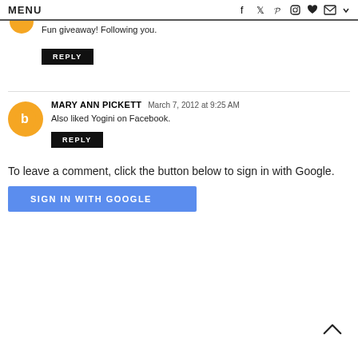MENU
Fun giveaway! Following you.
REPLY
MARY ANN PICKETT March 7, 2012 at 9:25 AM
Also liked Yogini on Facebook.
REPLY
To leave a comment, click the button below to sign in with Google.
SIGN IN WITH GOOGLE